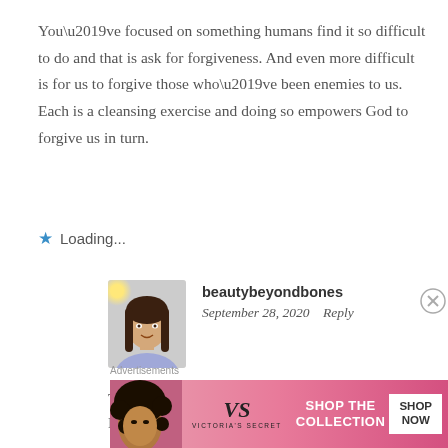You’ve focused on something humans find it so difficult to do and that is ask for forgiveness. And even more difficult is for us to forgive those who’ve been enemies to us. Each is a cleansing exercise and doing so empowers God to forgive us in turn.
★ Loading...
[Figure (photo): Profile photo of beautybeyondbones - a young woman with long dark hair wearing a light blue top, with a yellow sparkle/glow in the upper left corner]
beautybeyondbones
September 28, 2020   Reply
Thank you Ian. You’re right – it is so difficult to do!! I agree! Hugs and love xox
Advertisements
[Figure (advertisement): Victoria's Secret advertisement with a woman with curly hair on the left, VS logo in the middle, and SHOP THE COLLECTION text with a white SHOP NOW button on the right, on a pink gradient background]